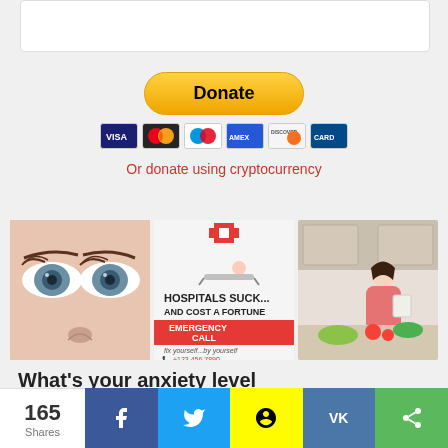[Figure (screenshot): White card/form area at top of page]
[Figure (infographic): PayPal Donate button with payment card logos (Visa, Mastercard, Maestro, Amex, Discover, and one more)]
Or donate using cryptocurrency
[Figure (photo): Close-up photo of woman's eyes and nose]
[Figure (infographic): HOSPITALS SUCK... AND COST A FORTUNE - EMERGENCY CALL - fix yourself...by yourself - +123 456 7890]
[Figure (photo): Woman in pink cardigan reading in a kitchen with vegetables on counter]
What's your anxiety level
165 Shares | Facebook | Twitter | Snapchat | VK | Share